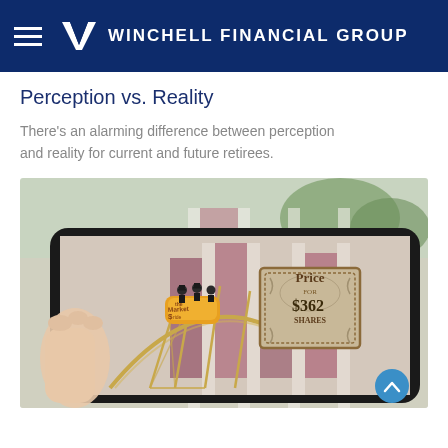Winchell Financial Group
Perception vs. Reality
There's an alarming difference between perception and reality for current and future retirees.
[Figure (photo): A hand holding a tablet displaying a stock market roller coaster illustration with figures in a cart labeled 'the Market ride' and a vintage-style price tag reading 'Price for $362 Shares' against a bar chart background.]